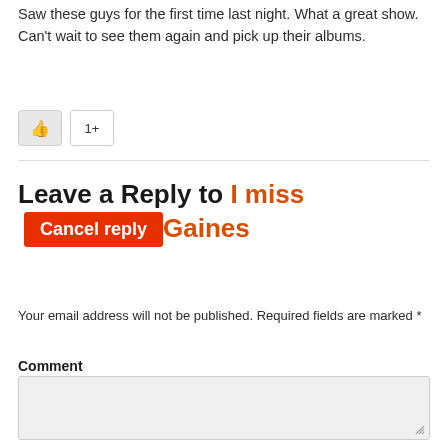Saw these guys for the first time last night. What a great show. Can't wait to see them again and pick up their albums.
[Figure (other): Like button (thumbs up icon) and a +1 button]
Leave a Reply to I miss Gaines   Cancel reply
Your email address will not be published. Required fields are marked *
Comment